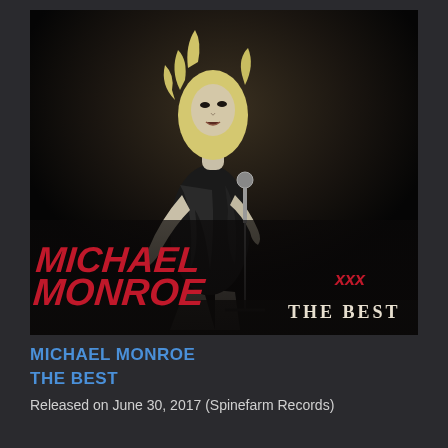[Figure (photo): Album cover for Michael Monroe XXX - The Best. Black and white live concert photo of a blonde rock performer singing into a microphone, wearing a black outfit. Red graffiti-style text reads 'Michael Monroe xxx' and below in white serif text 'THE BEST'.]
MICHAEL MONROE
THE BEST
Released on June 30, 2017 (Spinefarm Records)